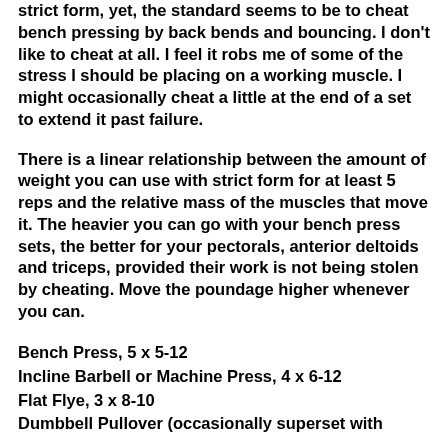strict form, yet, the standard seems to be to cheat bench pressing by back bends and bouncing. I don't like to cheat at all. I feel it robs me of some of the stress I should be placing on a working muscle. I might occasionally cheat a little at the end of a set to extend it past failure.
There is a linear relationship between the amount of weight you can use with strict form for at least 5 reps and the relative mass of the muscles that move it. The heavier you can go with your bench press sets, the better for your pectorals, anterior deltoids and triceps, provided their work is not being stolen by cheating. Move the poundage higher whenever you can.
Bench Press, 5 x 5-12
Incline Barbell or Machine Press, 4 x 6-12
Flat Flye, 3 x 8-10
Dumbbell Pullover (occasionally superset with